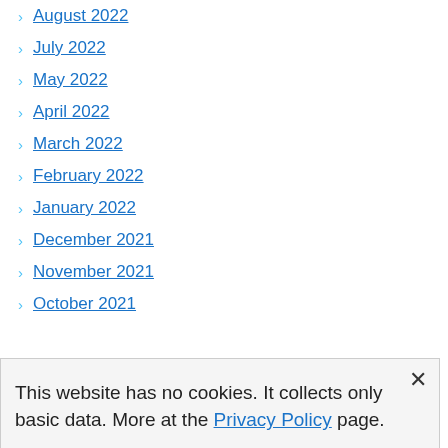August 2022
July 2022
May 2022
April 2022
March 2022
February 2022
January 2022
December 2021
November 2021
October 2021
This website has no cookies. It collects only basic data. More at the Privacy Policy page.